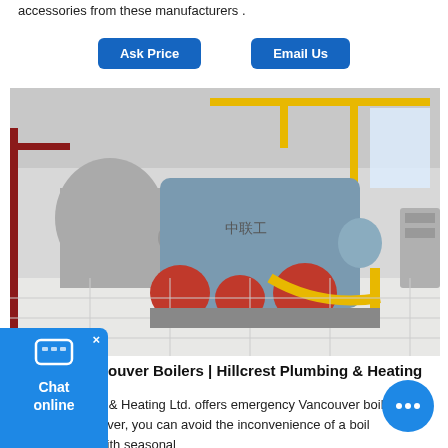accessories from these manufacturers .
Ask Price   Email Us
[Figure (photo): Industrial boiler room with large cylindrical boilers (gray/blue), red burner units, yellow gas pipes, and various mechanical equipment on a white tiled floor.]
ouver Boilers | Hillcrest Plumbing & Heating
est Plumbing & Heating Ltd. offers emergency Vancouver boiler repair . However, you can avoid the inconvenience of a boil breakdown with seasonal